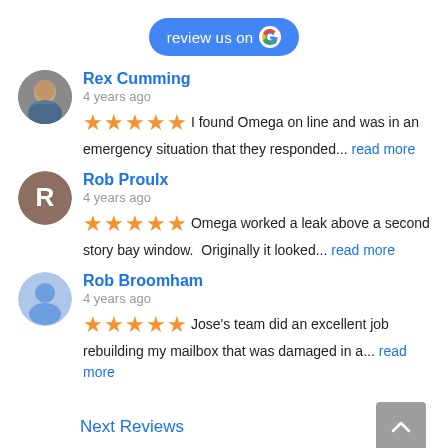[Figure (logo): Blue rounded button with text 'review us on' and Google G logo]
Rex Cumming
4 years ago
★★★★★ I found Omega on line and was in an emergency situation that they responded... read more
Rob Proulx
4 years ago
★★★★★ Omega worked a leak above a second story bay window. Originally it looked... read more
Rob Broomham
4 years ago
★★★★★ Jose's team did an excellent job rebuilding my mailbox that was damaged in a... read more
Next Reviews